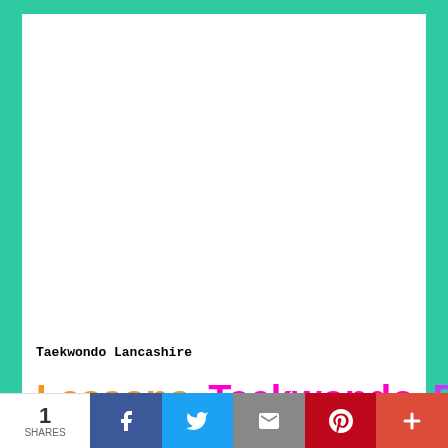[Figure (screenshot): White content area with green border frame (top and sides) representing a webpage screenshot area]
Taekwondo Lancashire
Lessons  Taekwondo  Preston
Clubs      Tuition      Lancashire
By using this website you are agreeing
1
SHARES